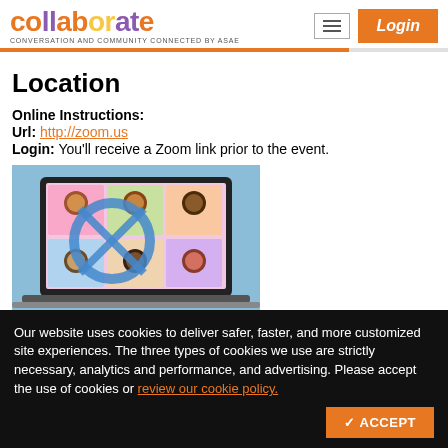collaborate — CONVERSATION AND COMMUNITY CONNECTED BY ASAE — Login button
Location
Online Instructions:
Url: http://zoom.us
Login: You'll receive a Zoom link prior to the event.
[Figure (illustration): Illustration of a laptop screen showing a video conferencing grid with diverse cartoon avatars and a blue ribbon/award graphic on a light blue background.]
Our website uses cookies to deliver safer, faster, and more customized site experiences. The three types of cookies we use are strictly necessary, analytics and performance, and advertising. Please accept the use of cookies or review our cookie policy.